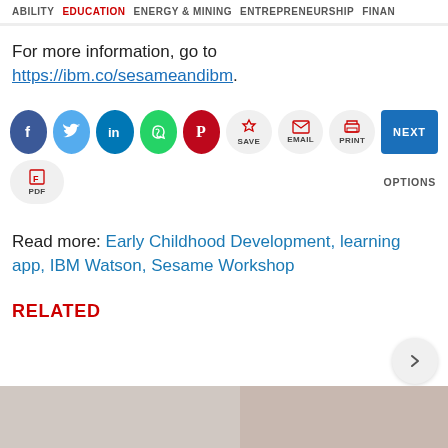ABILITY  EDUCATION  ENERGY & MINING  ENTREPRENEURSHIP  FINAN
For more information, go to https://ibm.co/sesameandibm.
[Figure (infographic): Social sharing buttons: Facebook, Twitter, LinkedIn, WhatsApp, Pinterest, SAVE, EMAIL, PRINT, NEXT, PDF, OPTIONS]
Read more: Early Childhood Development, learning app, IBM Watson, Sesame Workshop
RELATED
[Figure (photo): Partial bottom image strip showing people, partially cropped]